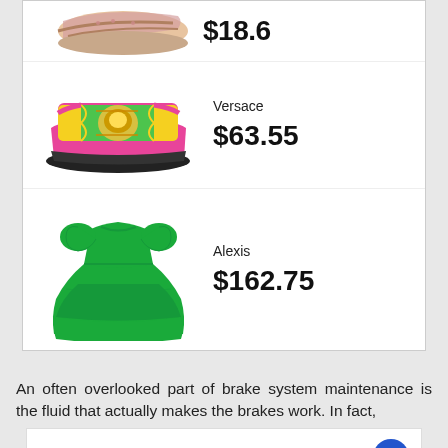[Figure (photo): Partial image of a sandal/shoe at the top of the product listing]
$18.6
[Figure (photo): Versace pink slide sandal with colorful baroque print strap]
Versace
$63.55
[Figure (photo): Alexis green midi dress with puff sleeves and tiered skirt]
Alexis
$162.75
An often overlooked part of brake system maintenance is the fluid that actually makes the brakes work. In fact,
[Figure (infographic): Ad banner: ROCKVILLE OPEN 9AM-5PM, 801 E GUDE DR, ROCKVILLE]